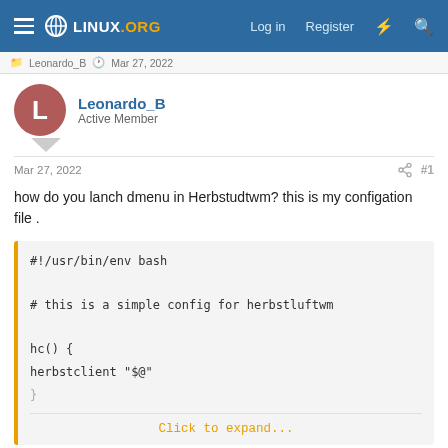LINUX.ORG — Log in  Register
Leonardo_B  Mar 27, 2022
Leonardo_B
Active Member
Mar 27, 2022  #1
how do you lanch dmenu in Herbstudtwm? this is my configuration file .
#!/usr/bin/env bash

# this is a simple config for herbstluftwm

hc() {
herbstclient "$@"
}

Click to expand...